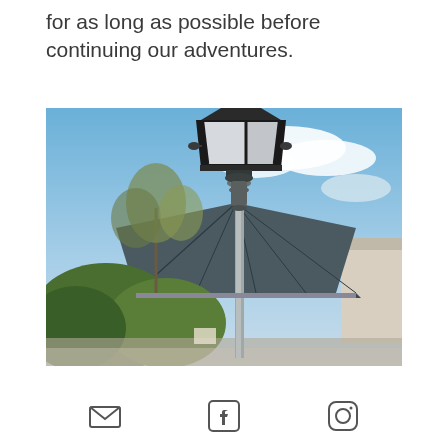for as long as possible before continuing our adventures.
[Figure (photo): Outdoor photo showing a classic street lamp post in the foreground against a blue sky with clouds. Behind the lamp are trees, a building with a dark metal pyramidal/conical roof, and a white building to the right.]
Email icon, Facebook icon, Instagram icon